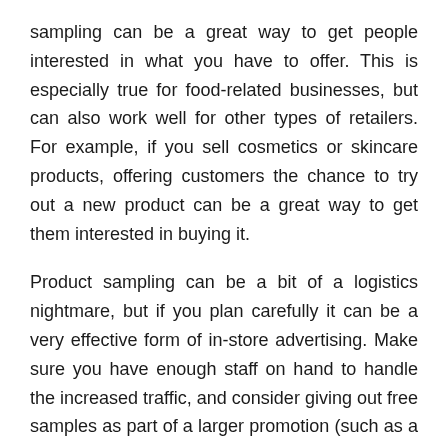sampling can be a great way to get people interested in what you have to offer. This is especially true for food-related businesses, but can also work well for other types of retailers. For example, if you sell cosmetics or skincare products, offering customers the chance to try out a new product can be a great way to get them interested in buying it.
Product sampling can be a bit of a logistics nightmare, but if you plan carefully it can be a very effective form of in-store advertising. Make sure you have enough staff on hand to handle the increased traffic, and consider giving out free samples as part of a larger promotion (such as a contest or sale).
In-Store Events
Hosting an in-store event is another great way to generate